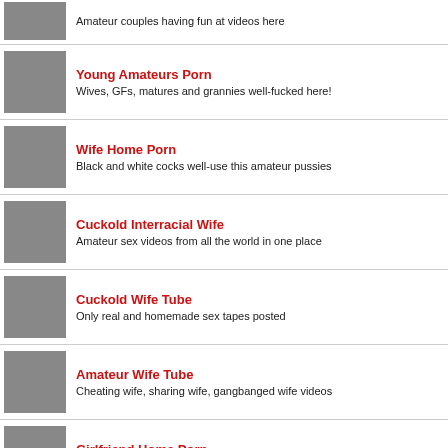Amateur couples having fun at videos here
Young Amateurs Porn
Wives, GFs, matures and grannies well-fucked here!
Wife Home Porn
Black and white cocks well-use this amateur pussies
Cuckold Interracial Wife
Amateur sex videos from all the world in one place
Cuckold Wife Tube
Only real and homemade sex tapes posted
Amateur Wife Tube
Cheating wife, sharing wife, gangbanged wife videos
Girlfriend Home Porn
Amateur sex tube with huge amount homamade sex films